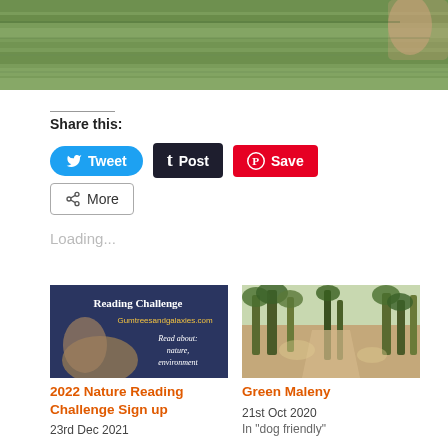[Figure (photo): Partial nature/water scene photo cropped at top of page]
Share this:
[Figure (screenshot): Tweet button (blue rounded), Post button (dark), Save button (red Pinterest)]
[Figure (screenshot): More button with share icon]
Loading...
[Figure (photo): Reading Challenge card image - book with text: Reading Challenge, Gumtreesandgalaxies.com, Read about: nature, environment]
2022 Nature Reading Challenge Sign up
23rd Dec 2021
[Figure (photo): Green Maleny - forest path with trees]
Green Maleny
21st Oct 2020
In "dog friendly"